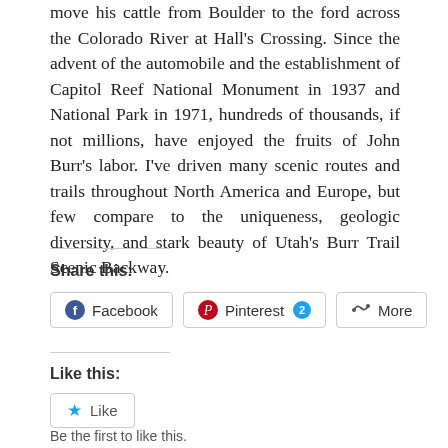move his cattle from Boulder to the ford across the Colorado River at Hall’s Crossing. Since the advent of the automobile and the establishment of Capitol Reef National Monument in 1937 and National Park in 1971, hundreds of thousands, if not millions, have enjoyed the fruits of John Burr’s labor. I’ve driven many scenic routes and trails throughout North America and Europe, but few compare to the uniqueness, geologic diversity, and stark beauty of Utah’s Burr Trail Scenic Backway.
Share this:
[Figure (screenshot): Share buttons: Facebook, Pinterest 2, More]
Like this:
[Figure (screenshot): Like button with star icon and text 'Like']
Be the first to like this.
[Figure (infographic): Social media sharing bar with Facebook, Twitter, LinkedIn, Pinterest, Email icons and a scroll-to-top button]
[Figure (screenshot): Bottom strip with Capitol Reef National Park logo and dark background label partially visible]